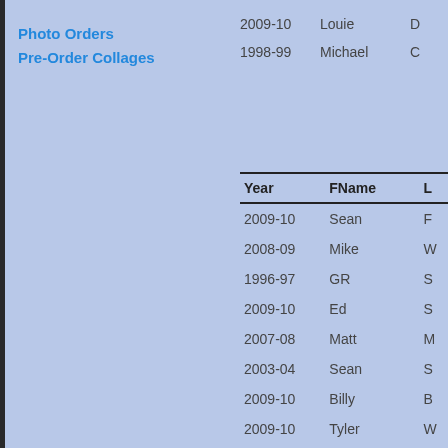Photo Orders
Pre-Order Collages
| Year | FName | L... |
| --- | --- | --- |
| 2009-10 | Louie | D... |
| 1998-99 | Michael | C... |
| Year | FName | L... |
| --- | --- | --- |
| 2009-10 | Sean | F... |
| 2008-09 | Mike | W... |
| 1996-97 | GR | S... |
| 2009-10 | Ed | S... |
| 2007-08 | Matt | M... |
| 2003-04 | Sean | S... |
| 2009-10 | Billy | B... |
| 2009-10 | Tyler | W... |
| 2010-11 | Jonathan | F... |
| 2016-17 | Zachary | F... |